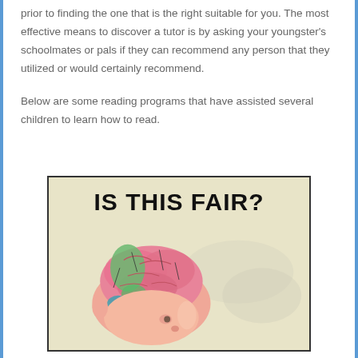prior to finding the one that is the right suitable for you. The most effective means to discover a tutor is by asking your youngster's schoolmates or pals if they can recommend any person that they utilized or would certainly recommend.
Below are some reading programs that have assisted several children to learn how to read.
[Figure (illustration): An illustration showing a child's head with an exposed brain diagram, with the text 'IS THIS FAIR?' in large bold black letters at the top. The brain is depicted in pink with green highlighted sections, on a light beige/cream background.]